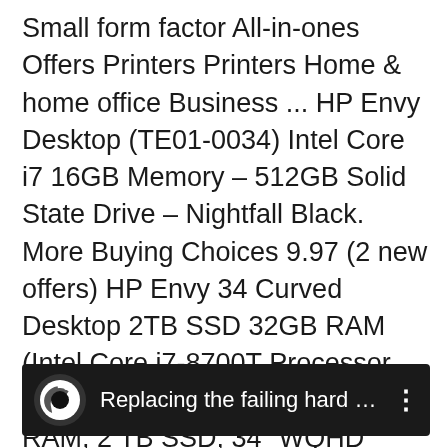Small form factor All-in-ones Offers Printers Printers Home & home office Business ... HP Envy Desktop (TE01-0034) Intel Core i7 16GB Memory – 512GB Solid State Drive – Nightfall Black. More Buying Choices 9.97 (2 new offers) HP Envy 34 Curved Desktop 2TB SSD 32GB RAM (Intel Core i7-8700T Processor Turbo Boost to 4.00GHz, 32 GB RAM, 2 TB SSD, 34″ WQHD LED(3440×1440),Win 10) PC Computer All-in-One. 4.5 out
[Figure (screenshot): Dark video bar with a circular icon on the left showing a stylized 'e' logo, followed by the text 'Replacing the failing hard drive ...' in white, and a three-dot menu icon on the right.]